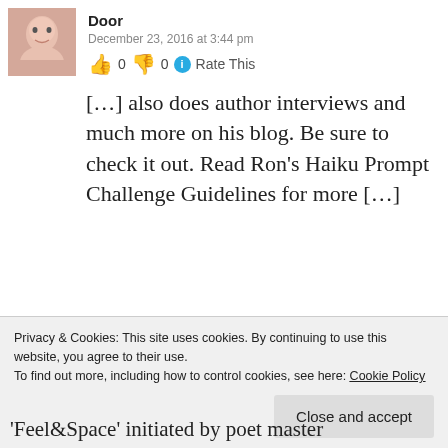[Figure (photo): Avatar photo of user Door — cropped face of a woman]
Door
December 23, 2016 at 3:44 pm
👍 0 👎 0 ℹ Rate This
[…] also does author interviews and much more on his blog. Be sure to check it out. Read Ron's Haiku Prompt Challenge Guidelines for more […]
★ Like
[Figure (photo): Second commenter avatar — blurred/pixelated image]
Privacy & Cookies: This site uses cookies. By continuing to use this website, you agree to their use.
To find out more, including how to control cookies, see here: Cookie Policy
Close and accept
'Feel&Space' initiated by poet master